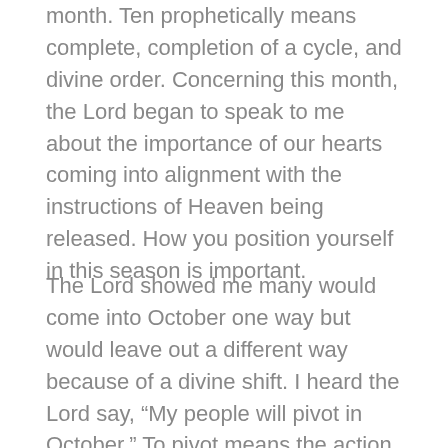month. Ten prophetically means complete, completion of a cycle, and divine order. Concerning this month, the Lord began to speak to me about the importance of our hearts coming into alignment with the instructions of Heaven being released. How you position yourself in this season is important.
The Lord showed me many would come into October one way but would leave out a different way because of a divine shift. I heard the Lord say, “My people will pivot in October.” To pivot means the action of turning around a point, the action of pivoting, to turn or twist (plot twist ). There’s about to be a